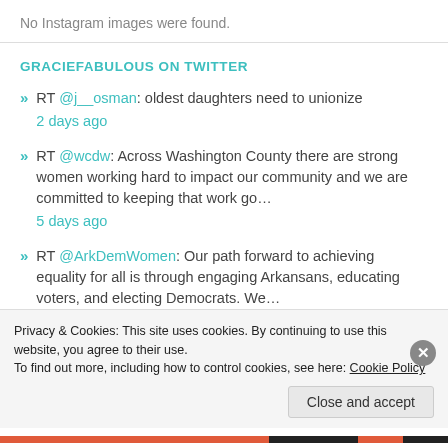No Instagram images were found.
GRACIEFABULOUS ON TWITTER
RT @j__osman: oldest daughters need to unionize
2 days ago
RT @wcdw: Across Washington County there are strong women working hard to impact our community and we are committed to keeping that work go…
5 days ago
RT @ArkDemWomen: Our path forward to achieving equality for all is through engaging Arkansans, educating voters, and electing Democrats. We…
5 days ago
Privacy & Cookies: This site uses cookies. By continuing to use this website, you agree to their use.
To find out more, including how to control cookies, see here: Cookie Policy